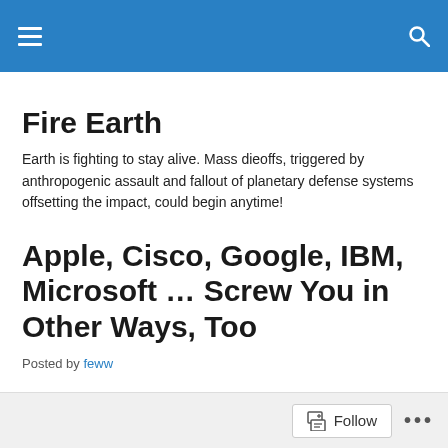Fire Earth [navigation bar with hamburger menu and search icon]
Fire Earth
Earth is fighting to stay alive. Mass dieoffs, triggered by anthropogenic assault and fallout of planetary defense systems offsetting the impact, could begin anytime!
Apple, Cisco, Google, IBM, Microsoft … Screw You in Other Ways, Too
Posted by feww
Follow ...